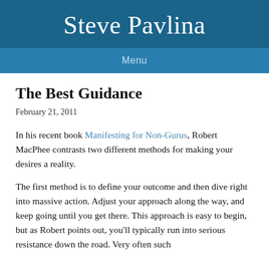Steve Pavlina
Menu
The Best Guidance
February 21, 2011
In his recent book Manifesting for Non-Gurus, Robert MacPhee contrasts two different methods for making your desires a reality.
The first method is to define your outcome and then dive right into massive action. Adjust your approach along the way, and keep going until you get there. This approach is easy to begin, but as Robert points out, you'll typically run into serious resistance down the road. Very often such